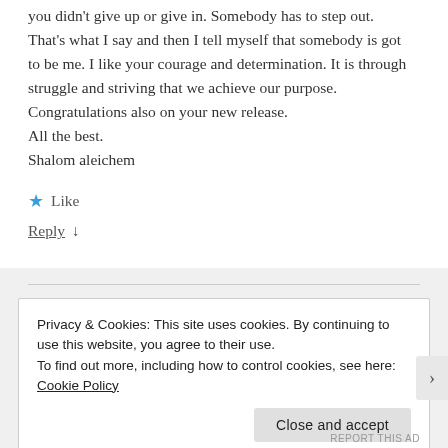you didn't give up or give in. Somebody has to step out. That's what I say and then I tell myself that somebody is got to be me. I like your courage and determination. It is through struggle and striving that we achieve our purpose. Congratulations also on your new release.
All the best.
Shalom aleichem
★ Like
Reply ↓
Privacy & Cookies: This site uses cookies. By continuing to use this website, you agree to their use.
To find out more, including how to control cookies, see here: Cookie Policy
Close and accept
REPORT THIS AD